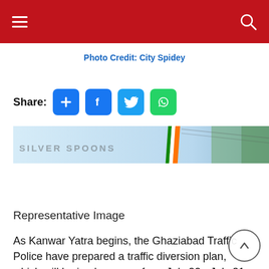Navigation bar with hamburger menu and search icon
Photo Credit: City Spidey
Share:
[Figure (screenshot): Partial banner image showing Silver Spoons text and an Indian flag stripe with trees in background]
Representative Image
As Kanwar Yatra begins, the Ghaziabad Traffic Police have prepared a traffic diversion plan, which will be implemented from July 22 - July 31. This plan aims at reducing traffic